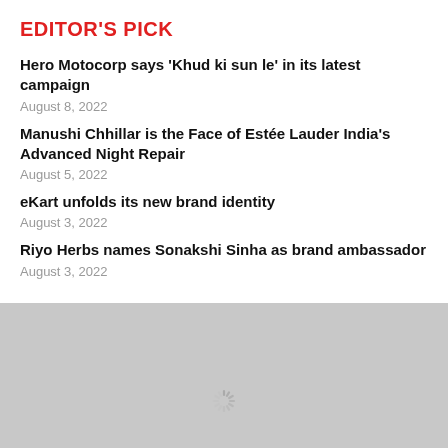EDITOR'S PICK
Hero Motocorp says 'Khud ki sun le' in its latest campaign
August 8, 2022
Manushi Chhillar is the Face of Estée Lauder India's Advanced Night Repair
August 5, 2022
eKart unfolds its new brand identity
August 3, 2022
Riyo Herbs names Sonakshi Sinha as brand ambassador
August 3, 2022
[Figure (other): Loading spinner on gray background]